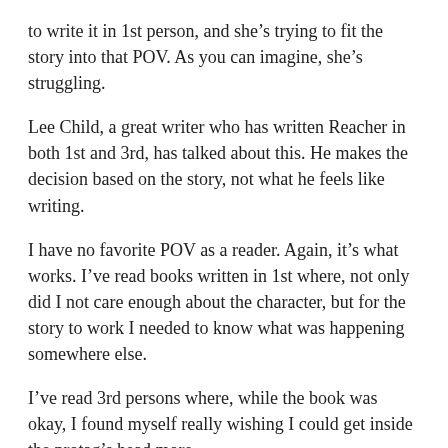to write it in 1st person, and she's trying to fit the story into that POV. As you can imagine, she's struggling.
Lee Child, a great writer who has written Reacher in both 1st and 3rd, has talked about this. He makes the decision based on the story, not what he feels like writing.
I have no favorite POV as a reader. Again, it's what works. I've read books written in 1st where, not only did I not care enough about the character, but for the story to work I needed to know what was happening somewhere else.
I've read 3rd persons where, while the book was okay, I found myself really wishing I could get inside the protag's head more.
And then there's the books that shift between 1st and 3rd. I've read a lot that were awful because of it. And I've read books where it was done brilliantly, and was the perfect choice. Crais' LA REQUIEM is still one of the finest examples of this.